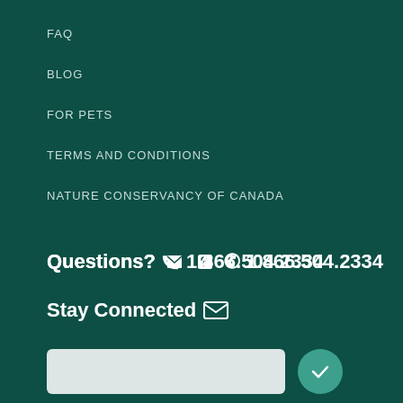FAQ
BLOG
FOR PETS
TERMS AND CONDITIONS
NATURE CONSERVANCY OF CANADA
Questions? 1.866.504.2334
Stay Connected
[Figure (other): Email input field with teal submit/checkmark button]